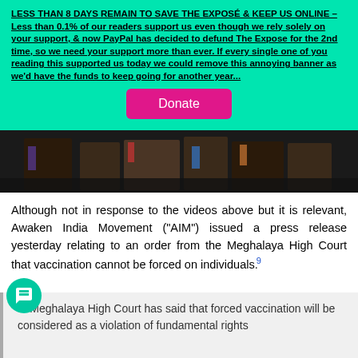LESS THAN 8 DAYS REMAIN TO SAVE THE EXPOSÉ & KEEP US ONLINE – Less than 0.1% of our readers support us even though we rely solely on your support, & now PayPal has decided to defund The Expose for the 2nd time, so we need your support more than ever. If every single one of you reading this supported us today we could remove this annoying banner as we'd have the funds to keep going for another year...
[Figure (other): Donate button (magenta/pink rounded rectangle with white 'Donate' text)]
[Figure (photo): Dark photo showing people in colorful clothing, partially visible, dark background]
Although not in response to the videos above but it is relevant, Awaken India Movement ("AIM") issued a press release yesterday relating to an order from the Meghalaya High Court that vaccination cannot be forced on individuals.
the Meghalaya High Court has said that forced vaccination will be considered as a violation of fundamental rights